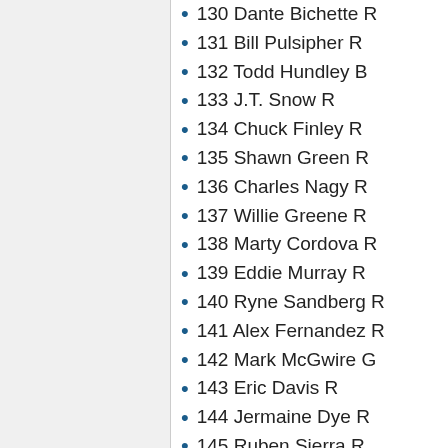130 Dante Bichette R
131 Bill Pulsipher R
132 Todd Hundley B
133 J.T. Snow R
134 Chuck Finley R
135 Shawn Green R
136 Charles Nagy R
137 Willie Greene R
138 Marty Cordova R
139 Eddie Murray R
140 Ryne Sandberg R
141 Alex Fernandez R
142 Mark McGwire G
143 Eric Davis R
144 Jermaine Dye R
145 Ruben Sierra R
146 Damon Buford R
147 John Smoltz B
148 ...